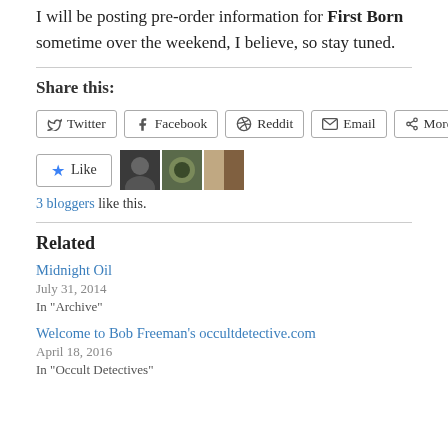I will be posting pre-order information for First Born sometime over the weekend, I believe, so stay tuned.
Share this:
Twitter  Facebook  Reddit  Email  More
Like  [avatars: 3 bloggers like this]
3 bloggers like this.
Related
Midnight Oil
July 31, 2014
In "Archive"
Welcome to Bob Freeman's occultdetective.com
April 18, 2016
In "Occult Detectives"